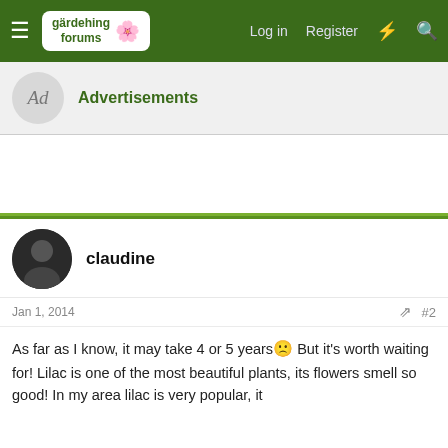gardening forums — Log in  Register
Advertisements
claudine
Jan 1, 2014  #2
As far as I know, it may take 4 or 5 years 🙁 But it's worth waiting for! Lilac is one of the most beautiful plants, its flowers smell so good! In my area lilac is very popular, it